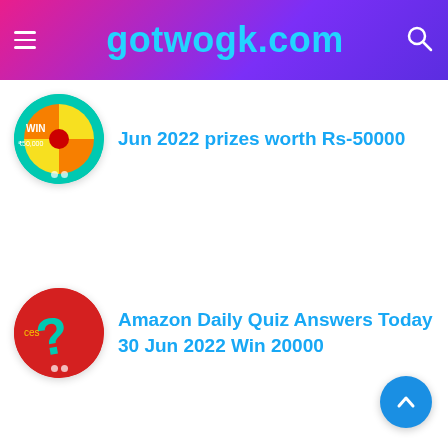gotwogk.com
[Figure (illustration): Circular thumbnail with teal background showing a prize wheel with yellow and orange sections, text WIN and worth Rs.50,000]
Jun 2022 prizes worth Rs-50000
[Figure (illustration): Circular thumbnail with red background showing a green question mark symbol with decorative styling]
Amazon Daily Quiz Answers Today 30 Jun 2022 Win 20000